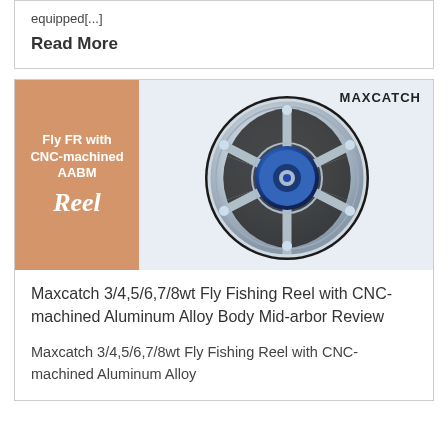equipped[...]
Read More
[Figure (photo): Fly fishing reel product image with orange overlay text reading 'Fly FR with CNC-machined AABM Reel' and MAXCATCH branding, showing a silver and blue fly fishing reel]
Maxcatch 3/4,5/6,7/8wt Fly Fishing Reel with CNC-machined Aluminum Alloy Body Mid-arbor Review
Maxcatch 3/4,5/6,7/8wt Fly Fishing Reel with CNC-machined Aluminum Alloy